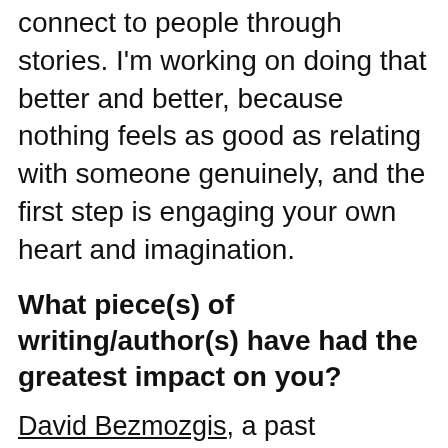connect to people through stories. I'm working on doing that better and better, because nothing feels as good as relating with someone genuinely, and the first step is engaging your own heart and imagination.
What piece(s) of writing/author(s) have had the greatest impact on you?
David Bezmozgis, a past Diaspora Dialogues mentor who grew up in the same neighbourhood as I did—Bathurst and Russia (or the area around Steeles and Finch for those of you who are looking for it on a Toronto map). When I read his stories in the collection